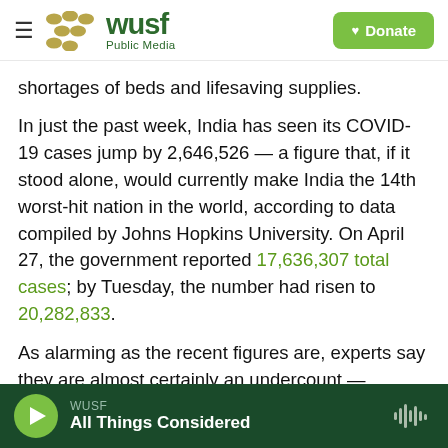WUSF Public Media — Donate
shortages of beds and lifesaving supplies.
In just the past week, India has seen its COVID-19 cases jump by 2,646,526 — a figure that, if it stood alone, would currently make India the 14th worst-hit nation in the world, according to data compiled by Johns Hopkins University. On April 27, the government reported 17,636,307 total cases; by Tuesday, the number had risen to 20,282,833.
As alarming as the recent figures are, experts say they are almost certainly an undercount — possibly by a whole lot.
WUSF — All Things Considered